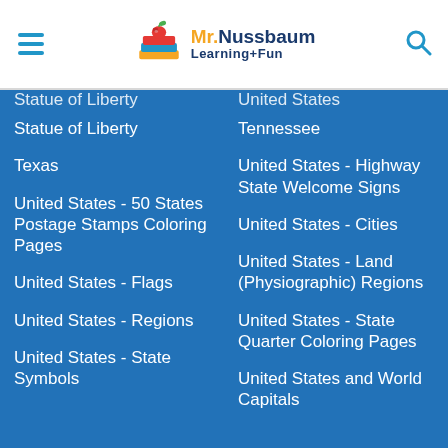Mr. Nussbaum Learning+Fun
Statue of Liberty
United States - Highway State Welcome Signs
Texas
Tennessee
United States - 50 States Postage Stamps Coloring Pages
United States - Cities
United States - Flags
United States - Land (Physiographic) Regions
United States - Regions
United States - State Quarter Coloring Pages
United States - State Symbols
United States and World Capitals